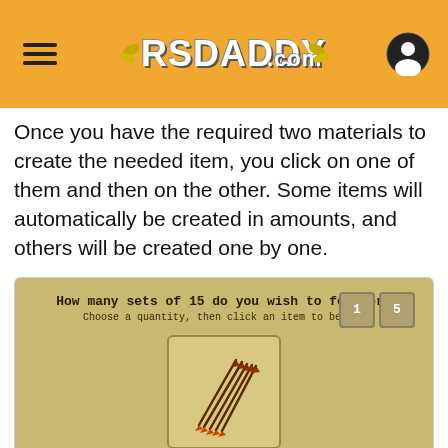RSDADDY.com
Once you have the required two materials to create the needed item, you click on one of them and then on the other. Some items will automatically be created in amounts, and others will be created one by one.
[Figure (screenshot): Game interface screenshot showing a dialog: 'How many sets of 15 do you wish to feather? Choose a quantity, then click an item to begin.' with buttons labeled 1 and 5, and an item box showing fletching arrows.]
Fletching OSRS Example (2)
Note that what makes Fletching so expensive to train is the number of materials you buy to create the next item. Nevertheless, the best of